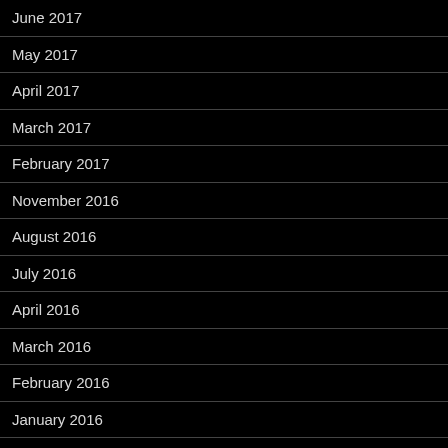June 2017
May 2017
April 2017
March 2017
February 2017
November 2016
August 2016
July 2016
April 2016
March 2016
February 2016
January 2016
December 2015